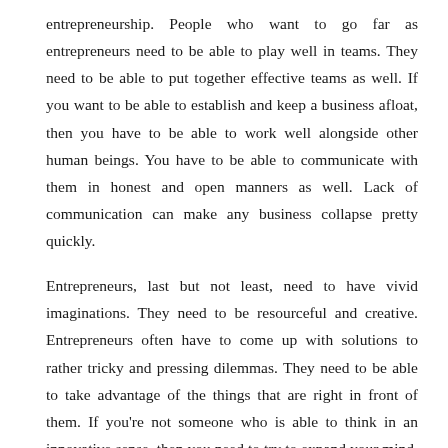entrepreneurship. People who want to go far as entrepreneurs need to be able to play well in teams. They need to be able to put together effective teams as well. If you want to be able to establish and keep a business afloat, then you have to be able to work well alongside other human beings. You have to be able to communicate with them in honest and open manners as well. Lack of communication can make any business collapse pretty quickly.
Entrepreneurs, last but not least, need to have vivid imaginations. They need to be resourceful and creative. Entrepreneurs often have to come up with solutions to rather tricky and pressing dilemmas. They need to be able to take advantage of the things that are right in front of them. If you're not someone who is able to think in an innovative sense, then you need to try to expand your mind. Some of the most talented entrepreneurs in this world